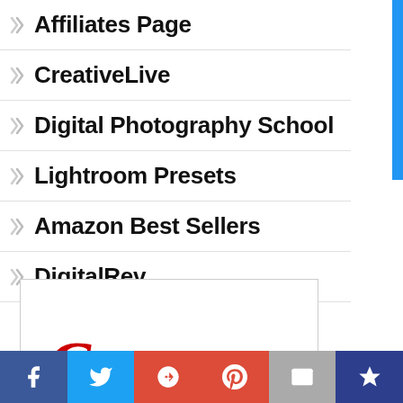Affiliates Page
CreativeLive
Digital Photography School
Lightroom Presets
Amazon Best Sellers
DigitalRev
[Figure (logo): Canon logo (partial, red script lettering) inside a bordered advertisement box]
Social share bar: Facebook, Twitter, Google+, Pinterest, Email, Feed